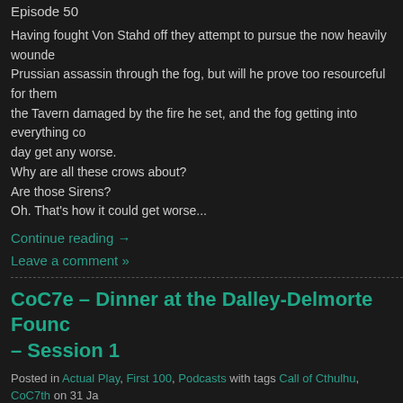Episode 50
Having fought Von Stahd off they attempt to pursue the now heavily wounded Prussian assassin through the fog, but will he prove too resourceful for them? the Tavern damaged by the fire he set, and the fog getting into everything could day get any worse.
Why are all these crows about?
Are those Sirens?
Oh. That's how it could get worse...
Continue reading →
Leave a comment »
CoC7e – Dinner at the Dalley-Delmorte Found– Session 1
Posted in Actual Play, First 100, Podcasts with tags Call of Cthulhu, CoC7th on 31 Ja 2015 by Mawdrigen
[Figure (other): Audio player with play button, 00:00 timestamp, and progress bar]
Episode 55
Finally we begin what will be our Epic play through of Horror on The Orient E